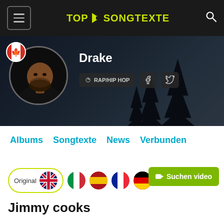TOP SONGTEXTE
[Figure (photo): Drake artist banner with profile photo and Canadian flag. Artist name Drake shown with RAP/HIP HOP genre badge and social media icons for Facebook and Twitter.]
Albums  Songtexte  News  Verbunden
[Figure (infographic): Language selection row: Original (selected, UK flag), Italian flag, Spanish flag, French flag, German flag. Green button: Suchen video]
Jimmy cooks